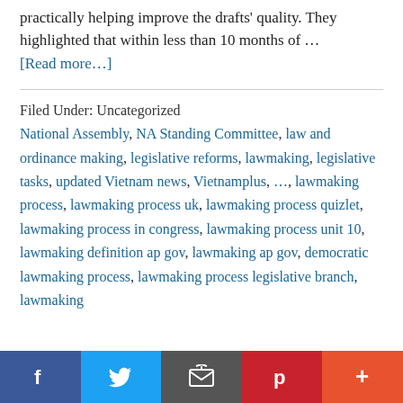practically helping improve the drafts' quality. They highlighted that within less than 10 months of …
[Read more…]
Filed Under: Uncategorized
National Assembly, NA Standing Committee, law and ordinance making, legislative reforms, lawmaking, legislative tasks, updated Vietnam news, Vietnamplus, …, lawmaking process, lawmaking process uk, lawmaking process quizlet, lawmaking process in congress, lawmaking process unit 10, lawmaking definition ap gov, lawmaking ap gov, democratic lawmaking process, lawmaking process legislative branch, lawmaking
Facebook | Twitter | Email | Pinterest | More